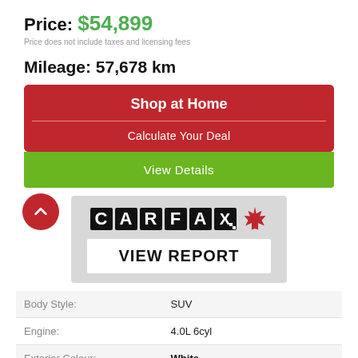Price: $54,899
Price does not include taxes and licensing fees
Mileage: 57,678 km
Shop at Home
Calculate Your Deal
View Details
[Figure (logo): CARFAX Canada logo with maple leaf]
VIEW REPORT
| Body Style: | SUV |
| Engine: | 4.0L 6cyl |
| Exterior Colour: | White |
| VIN: | JTEBU5JR5L5830614 |